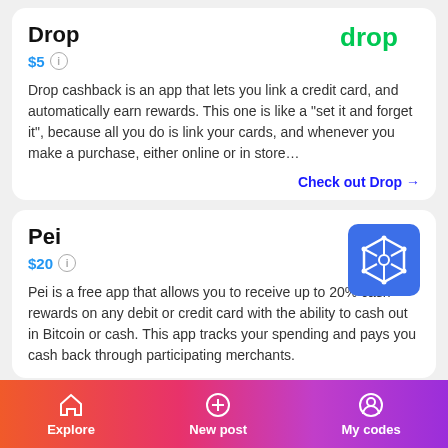Drop
$5
Drop cashback is an app that lets you link a credit card, and automatically earn rewards. This one is like a "set it and forget it", because all you do is link your cards, and whenever you make a purchase, either online or in store…
Check out Drop →
Pei
$20
Pei is a free app that allows you to receive up to 20% cash rewards on any debit or credit card with the ability to cash out in Bitcoin or cash. This app tracks your spending and pays you cash back through participating merchants.
🎁 invite friends → earn rewards 🎁
Explore  New post  My codes